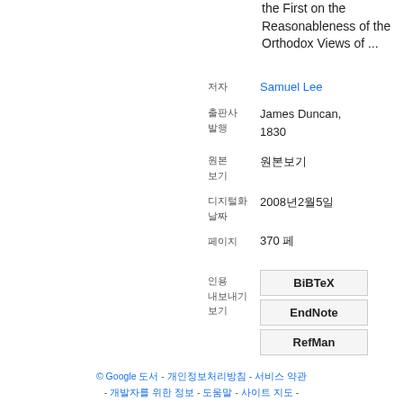the First on the Reasonableness of the Orthodox Views of ...
Samuel Lee
James Duncan, 1830
원본 보기
2008년2월5일
370 페
BiBTeX
EndNote
RefMan
© Google 도서 - 개인정보처리방침 - 서비스 약관 - 개발자를 위한 정보 - 도움말 - 사이트 지도 -